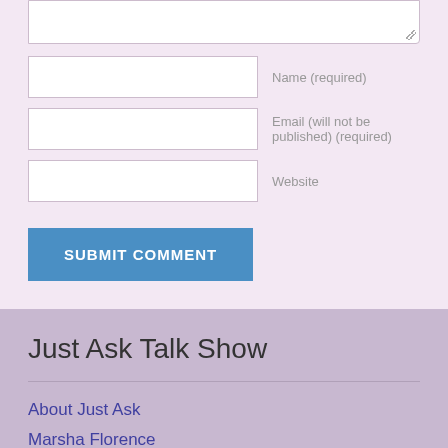Name (required)
Email (will not be published) (required)
Website
SUBMIT COMMENT
Just Ask Talk Show
About Just Ask
Marsha Florence
Just Ask Foundation, INC
In the News
Meet Our Contributors